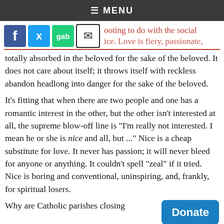≡ MENU
[Figure (other): Social media share buttons: Facebook, Twitter, Gab, Email]
totally absorbed in the beloved for the sake of the beloved. It does not care about itself; it throws itself with reckless abandon headlong into danger for the sake of the beloved.
It's fitting that when there are two people and one has a romantic interest in the other, but the other isn't interested at all, the supreme blow-off line is "I'm really not interested. I mean he or she is nice and all, but ..." Nice is a cheap substitute for love. It never has passion; it will never bleed for anyone or anything. It couldn't spell "zeal" if it tried. Nice is boring and conventional, uninspiring, and, frankly, for spiritual losers.
Why are Catholic parishes closing lemonade stands at the North Pole they're all